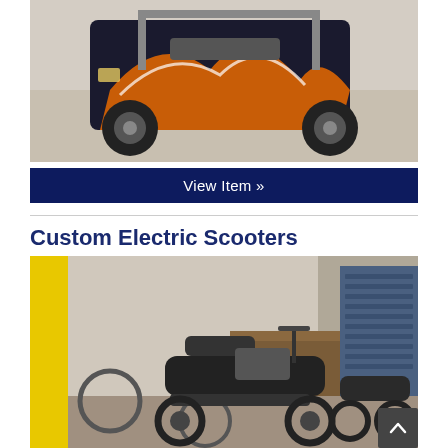[Figure (photo): Custom golf cart with flame and dragon graphic wrap, large off-road tires, parked in a garage/warehouse]
View Item »
[Figure (photo): Custom electric scooters/motorcycles parked in a workshop/garage with workbench and tool storage in background]
Custom Electric Scooters